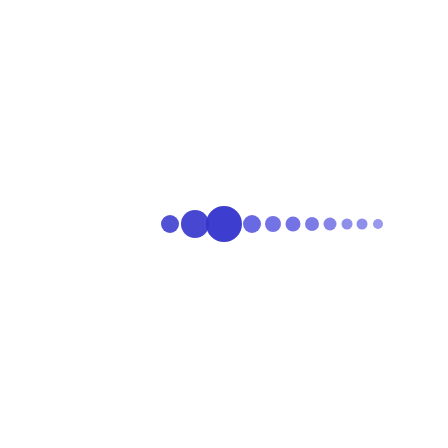[Figure (other): A horizontal row of blue dots of varying sizes, resembling a loading indicator. The dots decrease in size from left to right, with two larger filled circles on the left followed by progressively smaller dots. All dots are blue/indigo colored on a white background.]